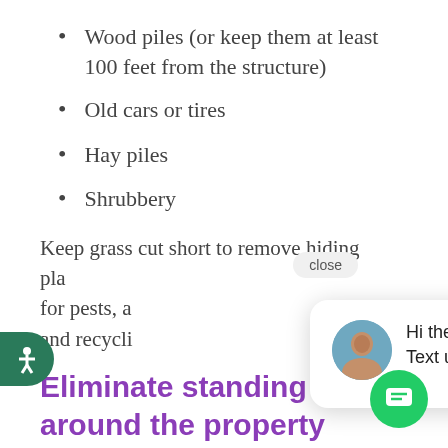Wood piles (or keep them at least 100 feet from the structure)
Old cars or tires
Hay piles
Shrubbery
Keep grass cut short to remove hiding places for pests, and keep recyclables in covered and recycling bins.
Eliminate standing water around the property
Especially in our rainy climate, this one can be